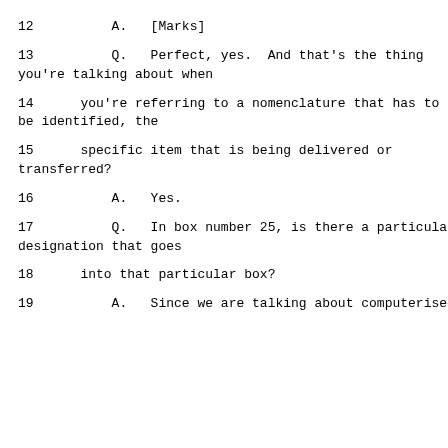12          A.   [Marks]
13          Q.   Perfect, yes.  And that's the thing you're talking about when
14      you're referring to a nomenclature that has to be identified, the
15      specific item that is being delivered or transferred?
16          A.   Yes.
17          Q.   In box number 25, is there a particular designation that goes
18      into that particular box?
19          A.   Since we are talking about computerised